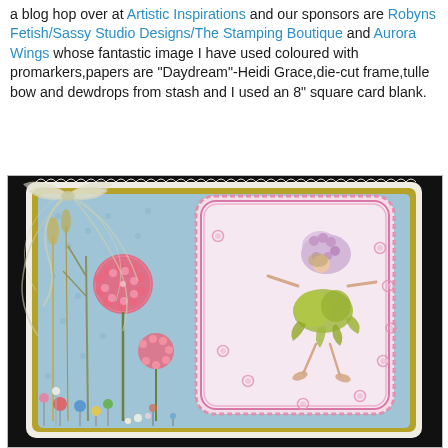a blog hop over at Artistic Inspirations and our sponsors are Robyns Fetish/Sassy Studio Designs/The Stamping Boutique and Aurora Wings whose fantastic image I have used coloured with promarkers,papers are "Daydream"-Heidi Grace,die-cut frame,tulle bow and dewdrops from stash and I used an 8" square card blank.
[Figure (photo): Handmade craft card with blue floral background paper, yellow/olive mat, scalloped white outer card, die-cut decorative frame with a fairy figure (Aurora Wings stamp) coloured in lavender and green, tulle bow at top left, pink circular floral decorations, balloons and small flowers at bottom, dewdrop embellishments, on dark background.]